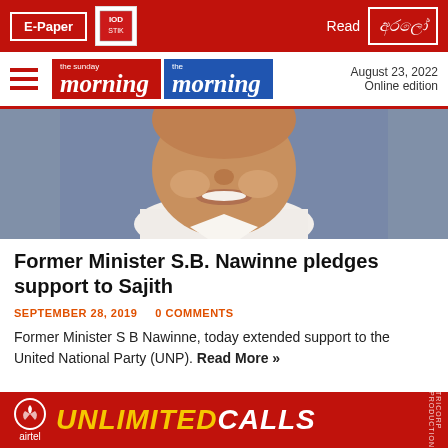E-Paper | Read | August 23, 2022 | Online edition
[Figure (photo): Portrait photo of Former Minister S.B. Nawinne, a smiling man in a white shirt against a blue-grey background]
Former Minister S.B. Nawinne pledges support to Sajith
SEPTEMBER 28, 2019    0 COMMENTS
Former Minister S B Nawinne, today extended support to the United National Party (UNP). Read More »
[Figure (other): Airtel advertisement banner with text 'UNLIMITED CALLS' in yellow and white on a red background]